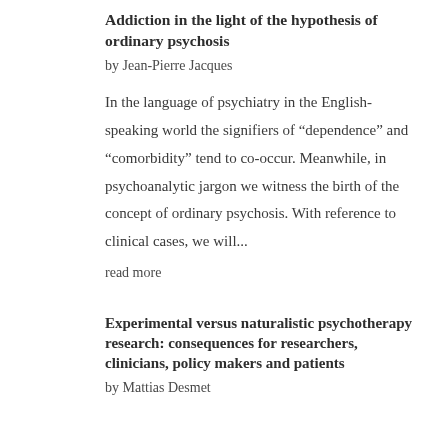Addiction in the light of the hypothesis of ordinary psychosis
by Jean-Pierre Jacques
In the language of psychiatry in the English-speaking world the signifiers of “dependence” and “comorbidity” tend to co-occur. Meanwhile, in psychoanalytic jargon we witness the birth of the concept of ordinary psychosis. With reference to clinical cases, we will...
read more
Experimental versus naturalistic psychotherapy research: consequences for researchers, clinicians, policy makers and patients
by Mattias Desmet